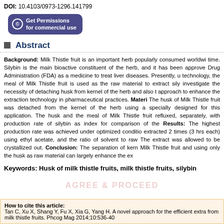DOI: 10.4103/0973-1296.141799
[Figure (other): Get Permissions for commercial use button with copyright icon, dark blue/purple rounded rectangle]
Abstract
Background: Milk Thistle fruit is an important herb popularly consumed worldwi... time. Silybin is the main bioactive constituent of the herb, and it has been approve... Drug Administration (FDA) as a medicine to treat liver diseases. Presently, u... technology, the meal of Milk Thistle fruit is used as the raw material to extract sily... investigate the necessity of detaching husk from kernel of the herb and also t... approach to enhance the extraction technology in pharmaceutical practices. Materi... The husk of Milk Thistle fruit was detached from the kernel of the herb using a... specially designed for this application. The husk and the meal of Milk Thistle fruit... refluxed, separately, with production rate of silybin as index for comparison of the... Results: The highest production rate was achieved under optimized conditio... extracted 2 times (3 hrs each) using ethyl acetate, and the ratio of solvent to raw... The extract was allowed to be crystallized out. Conclusion: The separation of kern... Milk Thistle fruit and using only the husk as raw material can largely enhance the ex...
Keywords: Husk of milk thistle fruits, milk thistle fruits, silybin
How to cite this article: Tan C, Xu X, Shang Y, Fu X, Xia G, Yang H. A novel approach for the efficient extra... from milk thistle fruits. Phcog Mag 2014;10:536-40